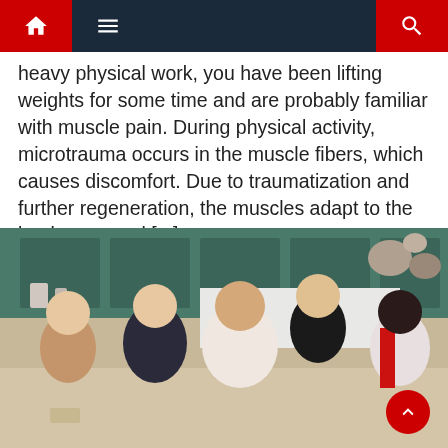Navigation bar with home, menu, and search icons
heavy physical work, you have been lifting weights for some time and are probably familiar with muscle pain. During physical activity, microtrauma occurs in the muscle fibers, which causes discomfort. Due to traumatization and further regeneration, the muscles adapt to the load, grow and [...]
[Figure (photo): Five people posing together in a kitchen setting, smiling at the camera. From left to right: a woman with long brown hair wearing a floral patterned top, a man in a dark suit with glasses, a woman in the center wearing a white floral dress, a young man in black standing behind, and a woman on the right in a red and white outfit.]